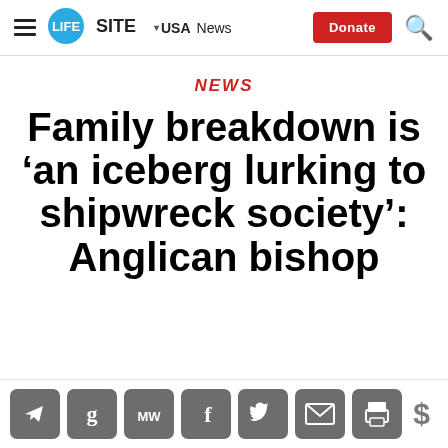LIFESITE — USA  News  Donate
NEWS
Family breakdown is 'an iceberg lurking to shipwreck society': Anglican bishop
[Figure (other): Social media sharing icons bar: Telegram, GetPocket, MeWe, Facebook, Twitter, Email, Print, and a dollar sign donate icon]